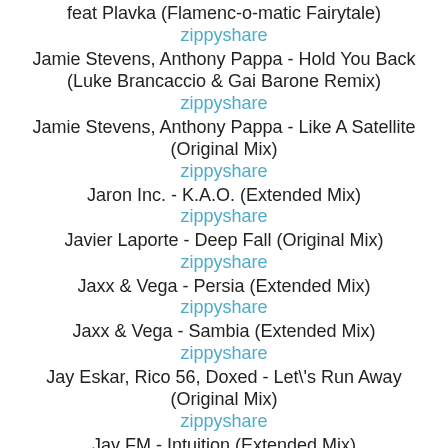feat Plavka (Flamenc-o-matic Fairytale)
zippyshare
Jamie Stevens, Anthony Pappa - Hold You Back (Luke Brancaccio & Gai Barone Remix)
zippyshare
Jamie Stevens, Anthony Pappa - Like A Satellite (Original Mix)
zippyshare
Jaron Inc. - K.A.O. (Extended Mix)
zippyshare
Javier Laporte - Deep Fall (Original Mix)
zippyshare
Jaxx & Vega - Persia (Extended Mix)
zippyshare
Jaxx & Vega - Sambia (Extended Mix)
zippyshare
Jay Eskar, Rico 56, Doxed - Let\'s Run Away (Original Mix)
zippyshare
Jay FM - Intuition (Extended Mix)
zippyshare
Jay FM - Intuition (Original Mix)
zippyshare